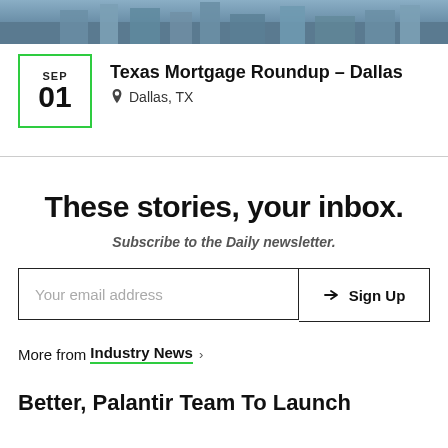[Figure (photo): Aerial photo of city buildings / urban skyline, cropped to a narrow strip at top of page]
SEP 01 Texas Mortgage Roundup – Dallas Dallas, TX
These stories, your inbox.
Subscribe to the Daily newsletter.
Your email address  Sign Up
More from Industry News >
Better, Palantir Team To Launch